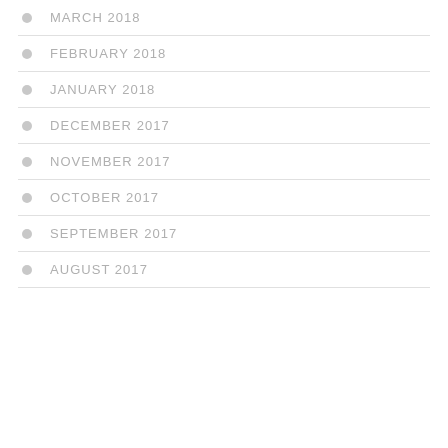MARCH 2018
FEBRUARY 2018
JANUARY 2018
DECEMBER 2017
NOVEMBER 2017
OCTOBER 2017
SEPTEMBER 2017
AUGUST 2017